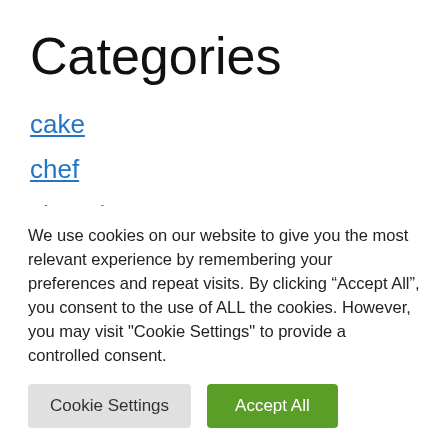Categories
cake
chef
chocolate
cooking
We use cookies on our website to give you the most relevant experience by remembering your preferences and repeat visits. By clicking “Accept All”, you consent to the use of ALL the cookies. However, you may visit "Cookie Settings" to provide a controlled consent.